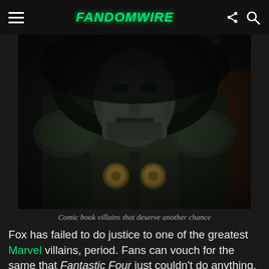FandomWire
[Figure (photo): A dark armored figure (Doctor Doom) wearing a metal mask and a dark hooded cloak with golden clasps, set against a dark background with a large V shape visible.]
Comic book villains that deserve another chance
Fox has failed to do justice to one of the greatest Marvel villains, period. Fans can vouch for the same that Fantastic Four just couldn't do anything. Now, we want Doctor Doom to get another chance. If you look at the MCU now, Doom would be the perfect villain to bring in and trouble the heroes.